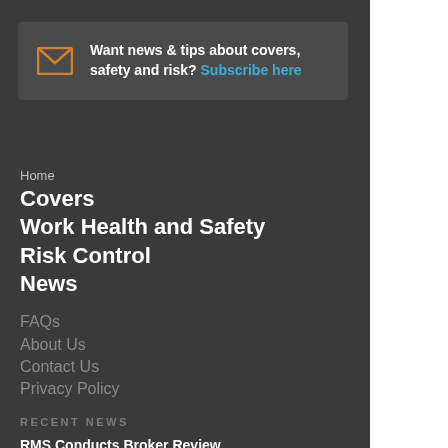Want news & tips about covers, safety and risk? Subscribe here
Home
Covers
Work Health and Safety
Risk Control
News
FAQs
About Us
Contact Us
Privacy Policy
RECENT NEWS
RMS Conducts Broker Review
Welcome to the Team!
Who is RMS?
[Figure (logo): RMS organization logo - black flame/torch and book emblem]